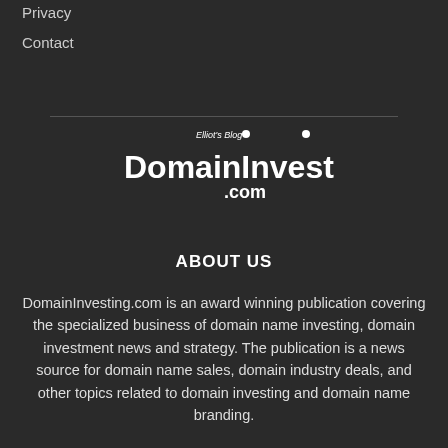Privacy
Contact
[Figure (logo): DomainInvesting.com logo — Elliot's Blog text above large white DomainInvesting text with .com below, white on dark background]
ABOUT US
DomainInvesting.com is an award winning publication covering the specialized business of domain name investing, domain investment news and strategy. The publication is a news source for domain name sales, domain industry deals, and other topics related to domain investing and domain name branding.